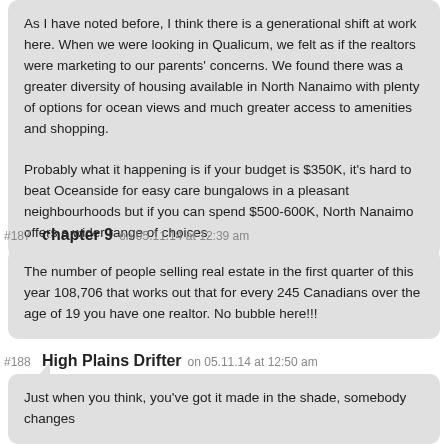As I have noted before, I think there is a generational shift at work here. When we were looking in Qualicum, we felt as if the realtors were marketing to our parents' concerns. We found there was a greater diversity of housing available in North Nanaimo with plenty of options for ocean views and much greater access to amenities and shopping.

Probably what it happening is if your budget is $350K, it's hard to beat Oceanside for easy care bungalows in a pleasant neighbourhoods but if you can spend $500-600K, North Nanaimo offers a wider range of choices.
#187  chapter 9  on 05.11.14 at 12:39 am
The number of people selling real estate in the first quarter of this year 108,706 that works out that for every 245 Canadians over the age of 19 you have one realtor. No bubble here!!!
#188  High Plains Drifter  on 05.11.14 at 12:50 am
Just when you think, you've got it made in the shade, somebody changes